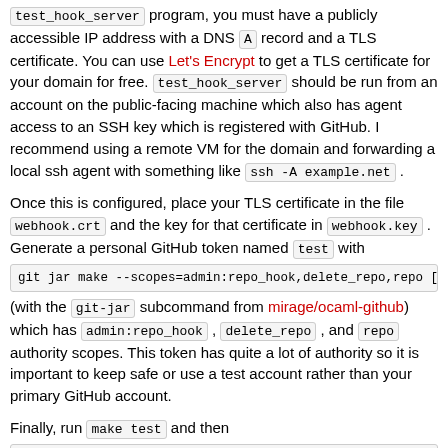test_hook_server program, you must have a publicly accessible IP address with a DNS A record and a TLS certificate. You can use Let's Encrypt to get a TLS certificate for your domain for free. test_hook_server should be run from an account on the public-facing machine which also has agent access to an SSH key which is registered with GitHub. I recommend using a remote VM for the domain and forwarding a local ssh agent with something like ssh -A example.net .
Once this is configured, place your TLS certificate in the file webhook.crt and the key for that certificate in webhook.key . Generate a personal GitHub token named test with git jar make --scopes=admin:repo_hook,delete_repo,repo [ (with the git-jar subcommand from mirage/ocaml-github) which has admin:repo_hook , delete_repo , and repo authority scopes. This token has quite a lot of authority so it is important to keep safe or use a test account rather than your primary GitHub account.
Finally, run make test and then _build/test/test_hook_server.native https://example.net...